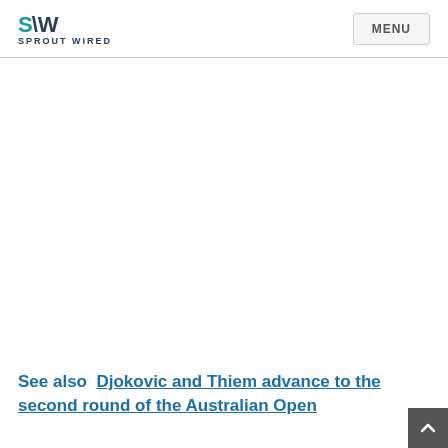SPROUT WIRED | MENU
See also  Djokovic and Thiem advance to the second round of the Australian Open